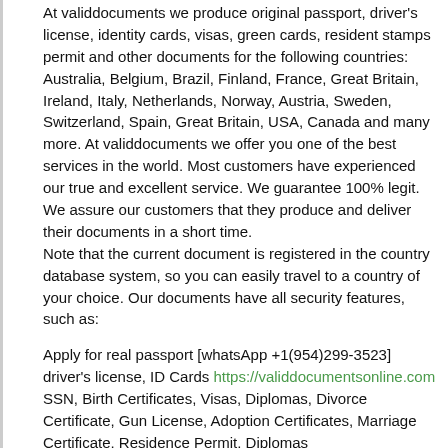At validdocuments we produce original passport, driver's license, identity cards, visas, green cards, resident stamps permit and other documents for the following countries: Australia, Belgium, Brazil, Finland, France, Great Britain, Ireland, Italy, Netherlands, Norway, Austria, Sweden, Switzerland, Spain, Great Britain, USA, Canada and many more. At validdocuments we offer you one of the best services in the world. Most customers have experienced our true and excellent service. We guarantee 100% legit. We assure our customers that they produce and deliver their documents in a short time.
Note that the current document is registered in the country database system, so you can easily travel to a country of your choice. Our documents have all security features, such as:
Apply for real passport [whatsApp +1(954)299-3523] driver's license, ID Cards https://validdocumentsonline.com SSN, Birth Certificates, Visas, Diplomas, Divorce Certificate, Gun License, Adoption Certificates, Marriage Certificate, Residence Permit, Diplomas
BUY COUNTERFEIT GREAT BRITISH POUNDS ONLINE, BUY COUNTERFEIT BANK NOTES/
https://validdocumentsonline.com/100-und...feit-money
BUY COUNTERFEIT EURO BANK NOTES, BUY COUNTERFEIT DOLLAR BANK NOTES, BUY COUNTERFEIT POUNDS BANK NOTES, BUY COUNTERFEIT BANK NOTES FOR ALL